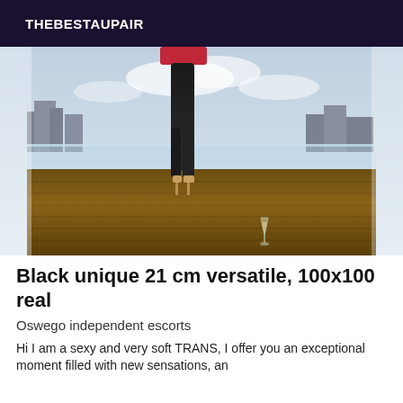THEBESTAUPAIR
[Figure (photo): Photo of a person from behind wearing black leggings and a red top, standing on a rooftop terrace with a glass balustrade, city buildings visible in background, a champagne flute on the deck floor]
Black unique 21 cm versatile, 100x100 real
Oswego independent escorts
Hi I am a sexy and very soft TRANS, I offer you an exceptional moment filled with new sensations, an